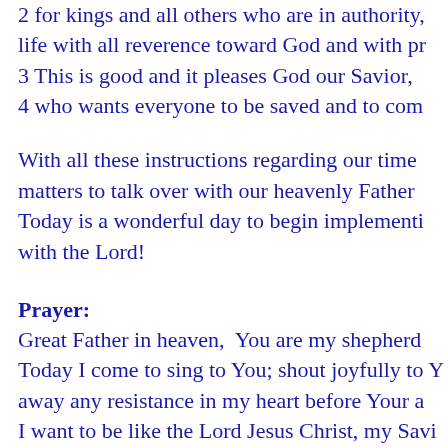2 for kings and all others who are in authority, life with all reverence toward God and with pr 3 This is good and it pleases God our Savior, 4 who wants everyone to be saved and to com
With all these instructions regarding our time matters to talk over with our heavenly Father Today is a wonderful day to begin implementi with the Lord!
Prayer:
Great Father in heaven,  You are my shepherd Today I come to sing to You; shout joyfully to Y away any resistance in my heart before Your a I want to be like the Lord Jesus Christ, my Savi Amen.